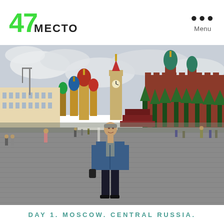47 МЕСТО
[Figure (photo): Person standing in Red Square, Moscow, Russia. The Kremlin wall is visible on the right, Saint Basil's Cathedral in the background left, Spasskaya Tower center-left. The man wears a denim jacket and holds a bag. Other tourists are scattered across the cobblestone square under a cloudy sky.]
DAY 1. MOSCOW. CENTRAL RUSSIA.